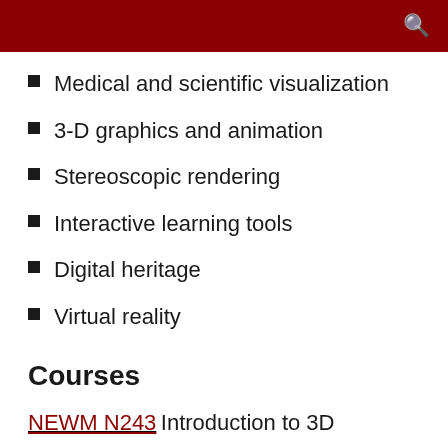Medical and scientific visualization
3-D graphics and animation
Stereoscopic rendering
Interactive learning tools
Digital heritage
Virtual reality
Courses
NEWM N243 Introduction to 3D
NEWM N341 Lighting and Materials
NEWM N342 3D Animation